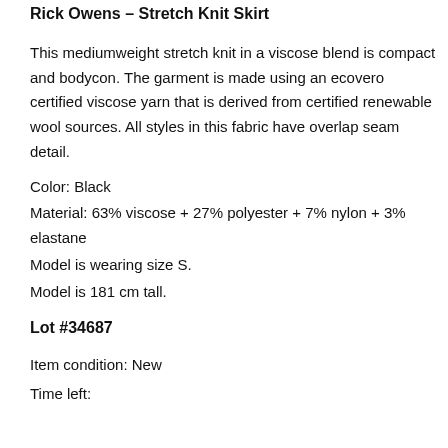Rick Owens – Stretch Knit Skirt
This mediumweight stretch knit in a viscose blend is compact and bodycon. The garment is made using an ecovero certified viscose yarn that is derived from certified renewable wool sources. All styles in this fabric have overlap seam detail.
Color: Black
Material: 63% viscose + 27% polyester + 7% nylon + 3% elastane
Model is wearing size S.
Model is 181 cm tall.
Lot #34687
Item condition: New
Time left: